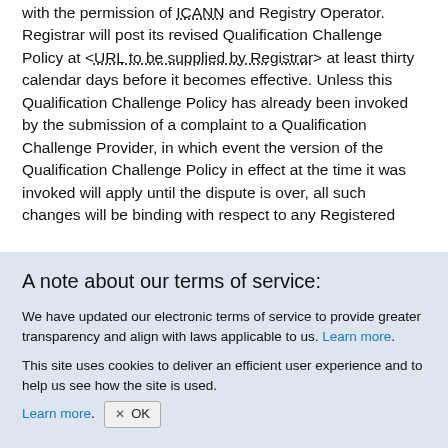with the permission of ICANN and Registry Operator. Registrar will post its revised Qualification Challenge Policy at <URL to be supplied by Registrar> at least thirty calendar days before it becomes effective. Unless this Qualification Challenge Policy has already been invoked by the submission of a complaint to a Qualification Challenge Provider, in which event the version of the Qualification Challenge Policy in effect at the time it was invoked will apply until the dispute is over, all such changes will be binding with respect to any Registered
A note about our terms of service:
We have updated our electronic terms of service to provide greater transparency and align with laws applicable to us. Learn more.
This site uses cookies to deliver an efficient user experience and to help us see how the site is used. Learn more. OK